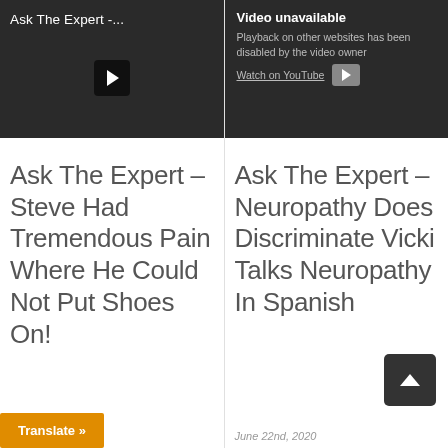[Figure (screenshot): Video thumbnail with dark background showing 'Ask The Expert -...' title text in white and a play button icon]
[Figure (screenshot): Video unavailable message on dark background: 'Playback on other websites has been disabled by the video owner. Watch on YouTube']
Ask The Expert – Steve Had Tremendous Pain Where He Could Not Put Shoes On!
Ask The Expert – Neuropathy Does Discriminate Vicki Talks Neuropathy In Spanish
June 22nd, 2020
Translate »